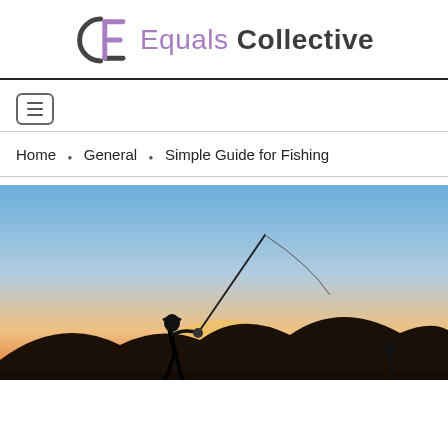Equals Collective
Home • General • Simple Guide for Fishing
[Figure (photo): Silhouette of a person fishing with a rod against a sunset sky with orange and blue gradient colors, hills in the background.]